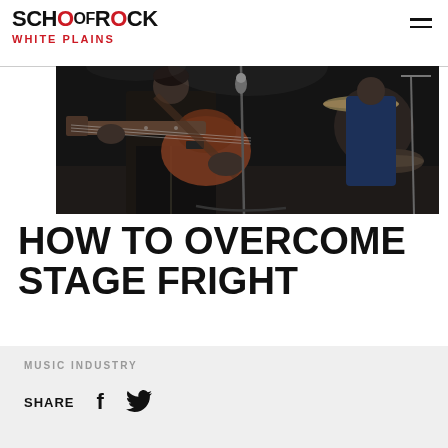SCHOOL OF ROCK – WHITE PLAINS
[Figure (photo): Black and white concert photo showing a guitarist playing an electric guitar on stage, with a drummer and cymbal visible in the background and a microphone stand.]
HOW TO OVERCOME STAGE FRIGHT
MUSIC INDUSTRY
SHARE